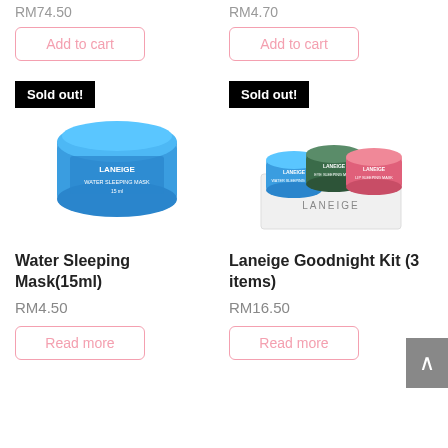RM74.50
RM4.70
Add to cart
Add to cart
[Figure (photo): Laneige Water Sleeping Mask blue jar, 15ml, with 'Sold out!' badge]
[Figure (photo): Laneige Goodnight Kit (3 items) with blue, green, and pink jars in white box, with 'Sold out!' badge]
Water Sleeping Mask(15ml)
Laneige Goodnight Kit (3 items)
RM4.50
RM16.50
Read more
Read more